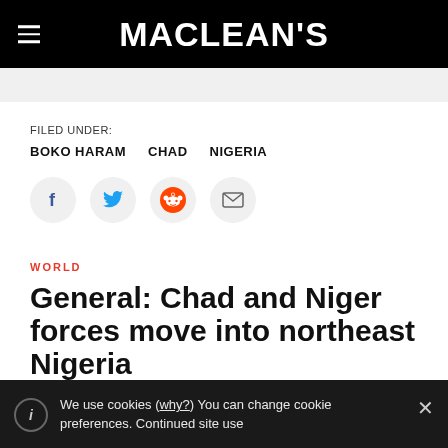MACLEAN'S
FILED UNDER:
BOKO HARAM
CHAD
NIGERIA
[Figure (infographic): Social sharing icons: Facebook, Twitter, Reddit, Email]
WORLD
General: Chad and Niger forces move into northeast Nigeria
We use cookies (why?) You can change cookie preferences. Continued site use